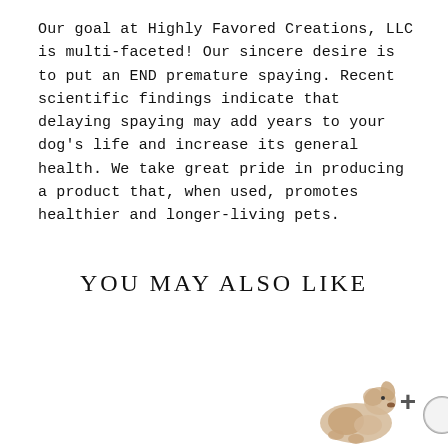Our goal at Highly Favored Creations, LLC is multi-faceted! Our sincere desire is to put an END premature spaying. Recent scientific findings indicate that delaying spaying may add years to your dog's life and increase its general health. We take great pride in producing a product that, when used, promotes healthier and longer-living pets.
YOU MAY ALSO LIKE
[Figure (illustration): Partial view of a dog illustration with a plus symbol and a circular element, partially cropped at the bottom-right corner of the page.]